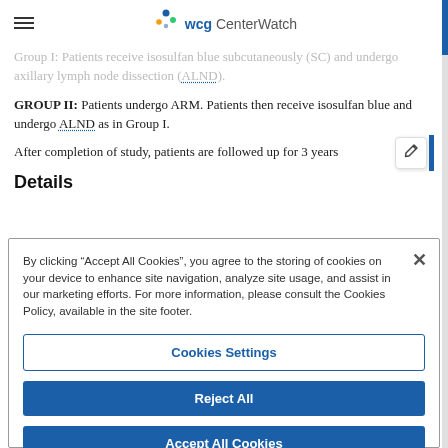WCG CenterWatch
GROUP I: Patients receive isosulfan blue subcutaneously (SC) and undergo axillary lymph node dissection (ALND).
GROUP II: Patients undergo ARM. Patients then receive isosulfan blue and undergo ALND as in Group I.
After completion of study, patients are followed up for 3 years
Details
By clicking "Accept All Cookies", you agree to the storing of cookies on your device to enhance site navigation, analyze site usage, and assist in our marketing efforts. For more information, please consult the Cookies Policy, available in the site footer.
Cookies Settings
Reject All
Accept All Cookies